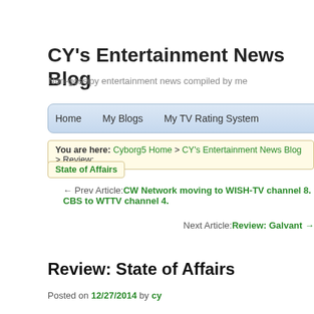CY's Entertainment News Blog
Non-gossipy entertainment news compiled by me
Home   My Blogs   My TV Rating System
You are here: Cyborg5 Home > CY's Entertainment News Blog > Review: State of Affairs
← Prev Article: CW Network moving to WISH-TV channel 8. CBS to WTTV channel 4.
Next Article: Review: Galvant →
Review: State of Affairs
Posted on 12/27/2014 by cy